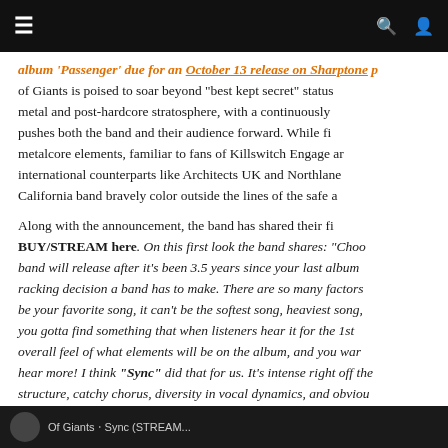Navigation bar with hamburger menu, search and user icons
album 'Passenger' due for an October 13 release on Sharptone Records. Of Giants is poised to soar beyond "best kept secret" status in the heavy metal and post-hardcore stratosphere, with a continuously evolving sound that pushes both the band and their audience forward. While firmly rooted in metalcore elements, familiar to fans of Killswitch Engage and their international counterparts like Architects UK and Northlane, the Southern California band bravely color outside the lines of the safe and familiar.
Along with the announcement, the band has shared their first single. BUY/STREAM here. On this first look the band shares: "Choosing the first song a band will release after it's been 3.5 years since your last album is a mind racking decision a band has to make. There are so many factors: it can't be your favorite song, it can't be the softest song, heaviest song, you gotta find something that when listeners hear it for the 1st time it gives an overall feel of what elements will be on the album, and you want them to want to hear more! I think "Sync" did that for us. It's intense right off the bat, solid structure, catchy chorus, diversity in vocal dynamics, and obviously a gnarly breakdown!".
[Figure (screenshot): Dark bottom bar showing an avatar circle and text, part of a media player or footer element]